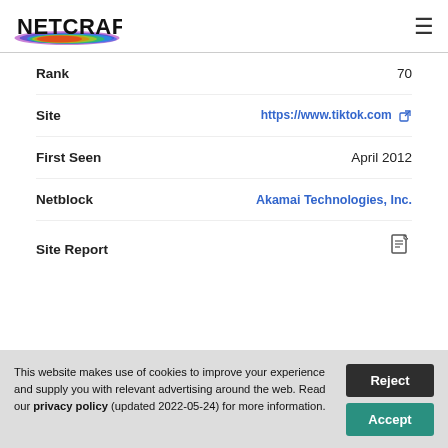[Figure (logo): Netcraft logo with rainbow brush stroke and black text]
| Field | Value |
| --- | --- |
| Rank | 70 |
| Site | https://www.tiktok.com |
| First Seen | April 2012 |
| Netblock | Akamai Technologies, Inc. |
| Site Report |  |
This website makes use of cookies to improve your experience and supply you with relevant advertising around the web. Read our privacy policy (updated 2022-05-24) for more information.